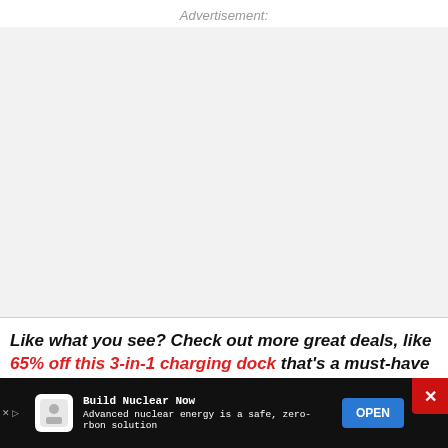Advertisement:
[Figure (other): Empty advertisement placeholder area with light gray background]
Like what you see? Check out more great deals, like 65% off this 3-in-1 charging dock that's a must-have f
[Figure (other): Bottom advertisement bar: Build Nuclear Now - Advanced nuclear energy is a safe, zero-carbon solution - with OPEN button]